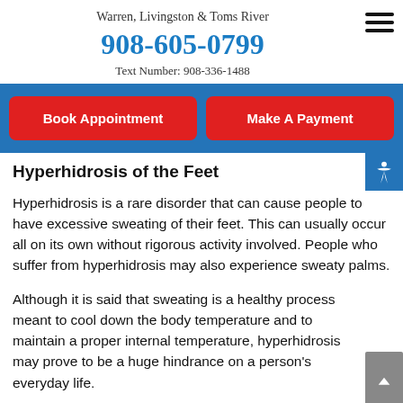Warren, Livingston & Toms River
908-605-0799
Text Number: 908-336-1488
Book Appointment
Make A Payment
Hyperhidrosis of the Feet
Hyperhidrosis is a rare disorder that can cause people to have excessive sweating of their feet. This can usually occur all on its own without rigorous activity involved. People who suffer from hyperhidrosis may also experience sweaty palms.
Although it is said that sweating is a healthy process meant to cool down the body temperature and to maintain a proper internal temperature, hyperhidrosis may prove to be a huge hindrance on a person's everyday life.